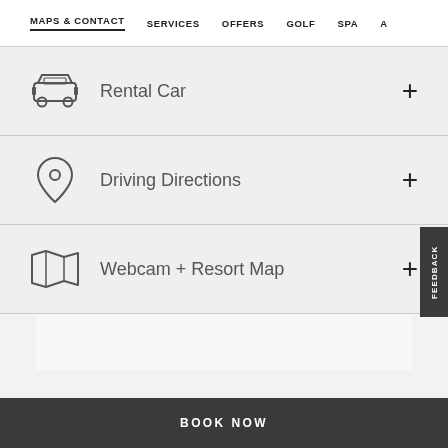MAPS & CONTACT | SERVICES | OFFERS | GOLF | SPA | A...
Rental Car
Driving Directions
Webcam + Resort Map
FEEDBACK
BOOK NOW